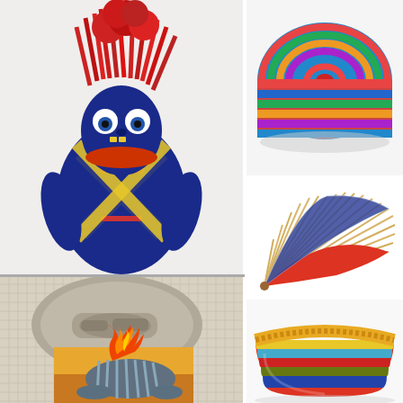[Figure (photo): Colorful handmade fabric doll with red yarn hair, large button eyes, and a blue, red, and yellow patterned body with crossed yellow ribbon across chest]
[Figure (photo): Colorful coiled woven basket or bowl viewed from above and side, made with multicolored threads in teal, red, orange, green, and purple]
[Figure (photo): Decorative folding fan partially open, showing red and blue patterned fabric on bamboo spines]
[Figure (illustration): Pencil drawing on grid paper of a rock or stone carving with an embedded figure, overlaid with a colorful painting of a striped armadillo-like creature on fire prostrating in a desert landscape]
[Figure (photo): Large colorful coiled fabric bowl with horizontal stripes in yellow, teal, red, blue, orange, and natural tones, viewed from the side at a slight angle]